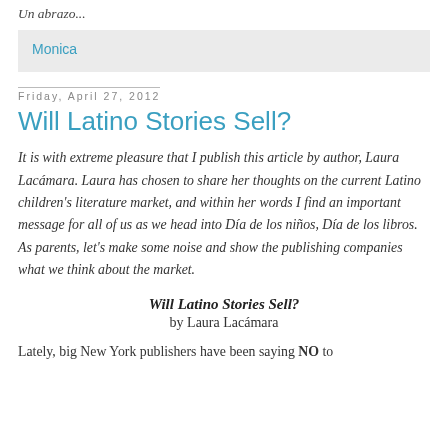Un abrazo...
Monica
Friday, April 27, 2012
Will Latino Stories Sell?
It is with extreme pleasure that I publish this article by author, Laura Lacámara. Laura has chosen to share her thoughts on the current Latino children's literature market, and within her words I find an important message for all of us as we head into Día de los niños, Día de los libros. As parents, let's make some noise and show the publishing companies what we think about the market.
Will Latino Stories Sell?
by Laura Lacámara
Lately, big New York publishers have been saying NO to